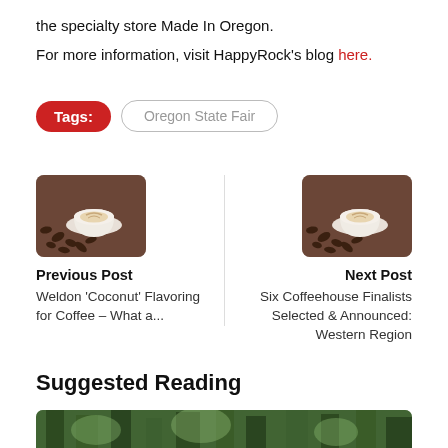the specialty store Made In Oregon.
For more information, visit HappyRock's blog here.
Tags: Oregon State Fair
Previous Post
Weldon 'Coconut' Flavoring for Coffee – What a...
[Figure (photo): Coffee cup with coffee beans on wooden surface - previous post thumbnail]
[Figure (photo): Coffee cup with coffee beans on wooden surface - next post thumbnail]
Next Post
Six Coffeehouse Finalists Selected & Announced: Western Region
Suggested Reading
[Figure (photo): Forest or nature scene - suggested reading thumbnail]